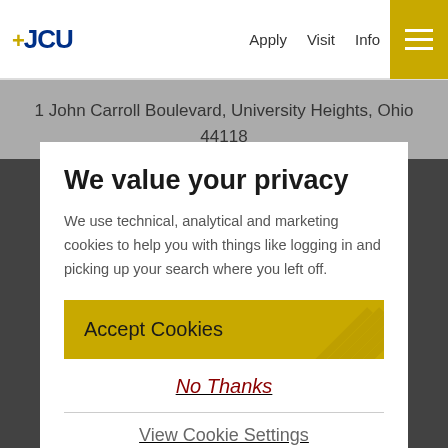+JCU | Apply  Visit  Info
1 John Carroll Boulevard, University Heights, Ohio 44118
We value your privacy
We use technical, analytical and marketing cookies to help you with things like logging in and picking up your search where you left off.
Accept Cookies
No Thanks
View Cookie Settings